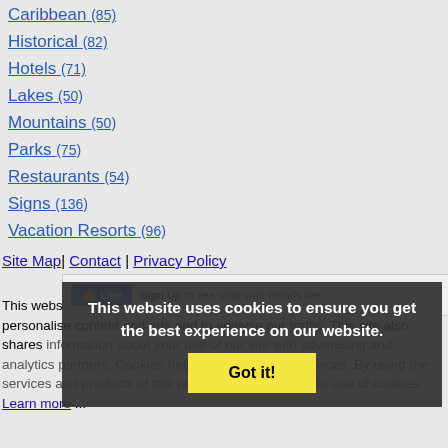Caribbean (85)
Historical (82)
Hotels (71)
Lakes (50)
Mountains (50)
Parks (75)
Restaurants (54)
Signs (136)
Vacation Resorts (96)
....All Galleries
Site Map| Contact | Privacy Policy
This website uses cookies to offer you a better browsing experience, to personalise content and ads and to analyse our traffic. This site also shares information about your use of our site with advertising and analytics partners. Cookies help us to deliver our services. By using the services and products of this website, you agree to our use of cookies. Learn more ...
This website uses cookies to ensure you get the best experience on our website. Got it!